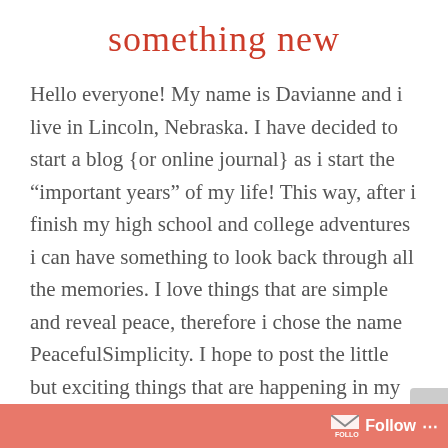something new
Hello everyone! My name is Davianne and i live in Lincoln, Nebraska. I have decided to start a blog {or online journal} as i start the “important years” of my life! This way, after i finish my high school and college adventures i can have something to look back through all the memories. I love things that are simple and reveal peace, therefore i chose the name PeacefulSimplicity. I hope to post the little but exciting things that are happening in my life a few times a week and share plenty of photos! Thanks for checking me out and i would love to have you tag along for this sweet ride! For now here’s 20 random facts about me: